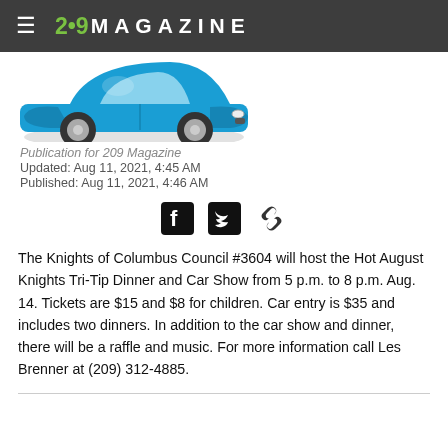2•9 MAGAZINE
[Figure (illustration): Partial view of a blue vintage/classic car illustration, cropped at the top of the page.]
Publication for 209 Magazine
Updated: Aug 11, 2021, 4:45 AM
Published: Aug 11, 2021, 4:46 AM
[Figure (infographic): Social sharing icons: Facebook, Twitter, and a link/chain icon.]
The Knights of Columbus Council #3604 will host the Hot August Knights Tri-Tip Dinner and Car Show from 5 p.m. to 8 p.m. Aug. 14. Tickets are $15 and $8 for children. Car entry is $35 and includes two dinners. In addition to the car show and dinner, there will be a raffle and music. For more information call Les Brenner at (209) 312-4885.